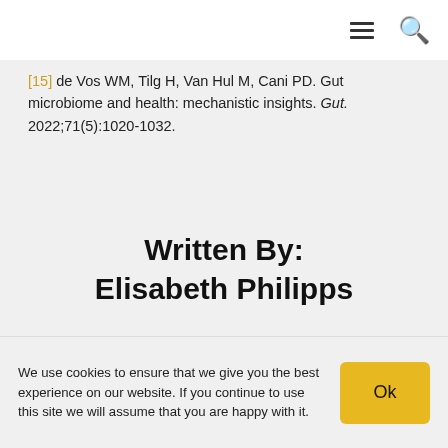navigation bar with hamburger menu and search icon
[15] de Vos WM, Tilg H, Van Hul M, Cani PD. Gut microbiome and health: mechanistic insights. Gut. 2022;71(5):1020-1032.
Written By:
Elisabeth Philipps
We use cookies to ensure that we give you the best experience on our website. If you continue to use this site we will assume that you are happy with it. Ok